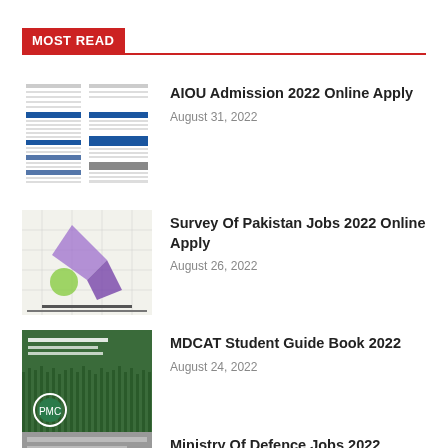MOST READ
AIOU Admission 2022 Online Apply
August 31, 2022
Survey Of Pakistan Jobs 2022 Online Apply
August 26, 2022
MDCAT Student Guide Book 2022
August 24, 2022
Ministry Of Defence Jobs 2022